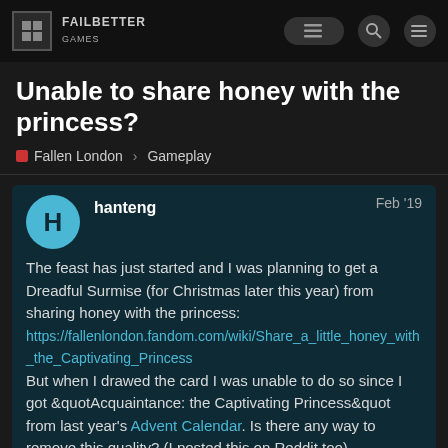Failbetter Games — forum header
Unable to share honey with the princess?
Fallen London   Gameplay
hanteng   Feb '19
The feast has just started and I was planning to get a Dreadful Surmise (for Christmas later this year) from sharing honey with the princess:
https://fallenlondon.fandom.com/wiki/Share_a_little_honey_with_the_Captivating_Princess
But when I drawed the card I was unable to do so since I got &quotAcquaintance: the Captivating Princess&quot from last year's Advent Calendar. Is there any way to remove this quality? (I posted this on Reddit too)
1 / 21